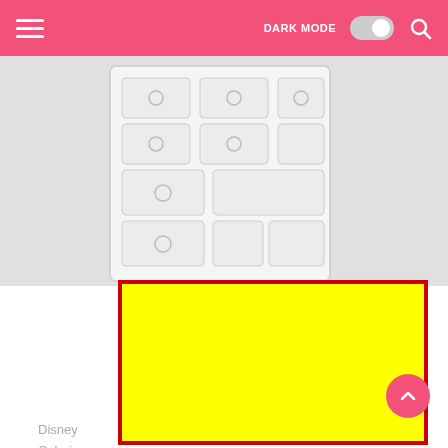DARK MODE  [toggle]  [search]
[Figure (screenshot): Partial screenshot of a mobile app showing a white dresser/drawer unit image with a close button overlay, a large yellow advertisement block with a red border, and partial text reading 'Disney ... ble Coloring' below. A pink scroll-to-top button is visible at bottom right.]